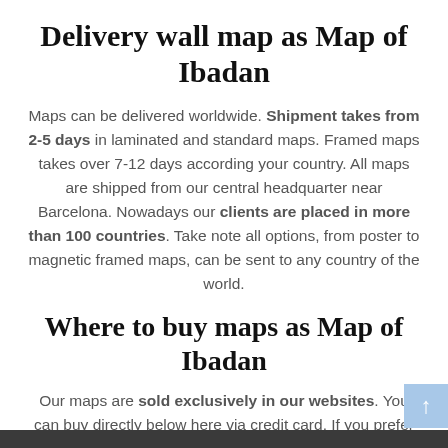Delivery wall map as Map of Ibadan
Maps can be delivered worldwide. Shipment takes from 2-5 days in laminated and standard maps. Framed maps takes over 7-12 days according your country. All maps are shipped from our central headquarter near Barcelona. Nowadays our clients are placed in more than 100 countries. Take note all options, from poster to magnetic framed maps, can be sent to any country of the world.
Where to buy maps as Map of Ibadan
Our maps are sold exclusively in our websites. You can buy directly below here via credit card. If you prefer to order Map of Ibadan via bank transfer just let us know.